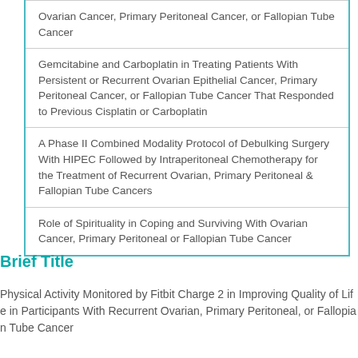Ovarian Cancer, Primary Peritoneal Cancer, or Fallopian Tube Cancer
Gemcitabine and Carboplatin in Treating Patients With Persistent or Recurrent Ovarian Epithelial Cancer, Primary Peritoneal Cancer, or Fallopian Tube Cancer That Responded to Previous Cisplatin or Carboplatin
A Phase II Combined Modality Protocol of Debulking Surgery With HIPEC Followed by Intraperitoneal Chemotherapy for the Treatment of Recurrent Ovarian, Primary Peritoneal & Fallopian Tube Cancers
Role of Spirituality in Coping and Surviving With Ovarian Cancer, Primary Peritoneal or Fallopian Tube Cancer
Brief Title
Physical Activity Monitored by Fitbit Charge 2 in Improving Quality of Life in Participants With Recurrent Ovarian, Primary Peritoneal, or Fallopian Tube Cancer